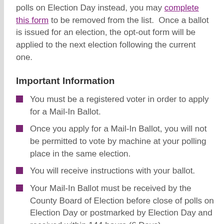polls on Election Day instead, you may complete this form to be removed from the list.  Once a ballot is issued for an election, the opt-out form will be applied to the next election following the current one.
Important Information
You must be a registered voter in order to apply for a Mail-In Ballot.
Once you apply for a Mail-In Ballot, you will not be permitted to vote by machine at your polling place in the same election.
You will receive instructions with your ballot.
Your Mail-In Ballot must be received by the County Board of Election before close of polls on Election Day or postmarked by Election Day and received within 144 hours (6 Days).
Do not submit more than one application for the